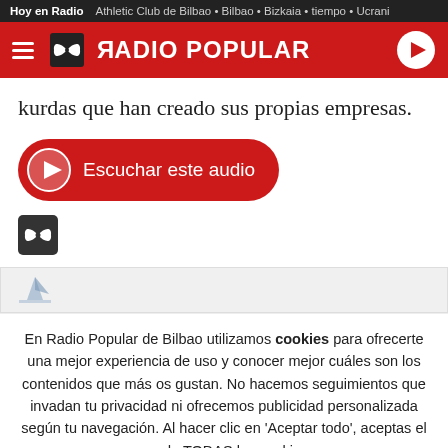Hoy en Radio • Athletic Club de Bilbao • Bilbao • Bizkaia • tiempo • Ucrani
[Figure (logo): Radio Popular red header bar with hamburger menu, butterfly logo icon, RADIO POPULAR text, and play button]
kurdas que han creado sus propias empresas.
[Figure (other): Red rounded button with play icon and text: Escuchar este audio]
[Figure (logo): Small Radio Popular butterfly logo icon in black square]
[Figure (screenshot): Partial image bar showing a small sailboat icon on light grey background]
En Radio Popular de Bilbao utilizamos cookies para ofrecerte una mejor experiencia de uso y conocer mejor cuáles son los contenidos que más os gustan. No hacemos seguimientos que invadan tu privacidad ni ofrecemos publicidad personalizada según tu navegación. Al hacer clic en 'Aceptar todo', aceptas el uso de TODAS las cookies.
Rechazar y salir | Aceptar todas y continuar | Leer más